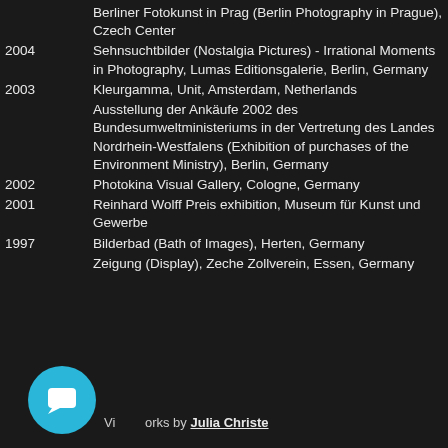Berliner Fotokunst in Prag (Berlin Photography in Prague), Czech Center
2004   Sehnsuchtbilder (Nostalgia Pictures) - Irrational Moments in Photography, Lumas Editionsgalerie, Berlin, Germany
2003   Kleurgamma, Unit, Amsterdam, Netherlands
Ausstellung der Ankäufe 2002 des Bundesumweltministeriums in der Vertretung des Landes Nordrhein-Westfalens (Exhibition of purchases of the Environment Ministry), Berlin, Germany
2002   Photokina Visual Gallery, Cologne, Germany
2001   Reinhard Wolff Preis exhibition, Museum für Kunst und Gewerbe
1997   Bilderbad (Bath of Images), Herten, Germany
Zeigung (Display), Zeche Zollverein, Essen, Germany
View works by Julia Christe